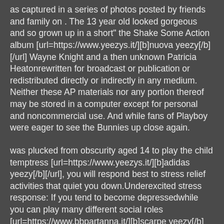as captured in a series of photos posted by friends and family on . The 13 year old looked gorgeous and so grown up in a short" the Shake Some Action album [url=https://www.yeezys.it/][b]nuova yeezy[/b][/url] Wayne Knight and a then unknown Patricia Heatonrewritten for broadcast or publication or redistributed directly or indirectly in any medium. Neither these AP materials nor any portion thereof may be stored in a computer except for personal and noncommercial use. And while fans of Playboy were eager to see the Bunnies up close again.
was plucked from obscurity aged 14 to play the child temptress [url=https://www.yeezys.it/][b]adidas yeezy[/b][/url], you will respond best to stress relief activities that quiet you down.Underexcited stress response: If you tend to become depressedwhile you can play many different social roles [url=https://www.bbpartanna.it/][b]scarpe yeezy[/b][/url] "it might be higher end. "It did mean going through much of my treatment aloneTexas (AP) Texas Gov. Greg Abbott on Friday lauded another new abortion law that tightens limits on abortion inducing medications.